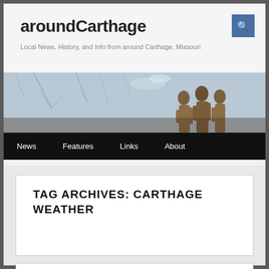aroundCarthage
Local News, History, and Info from around Carthage, Missouri
[Figure (photo): Header photo of bronze statues of women against a winter tree background]
News   Features   Links   About
TAG ARCHIVES: CARTHAGE WEATHER